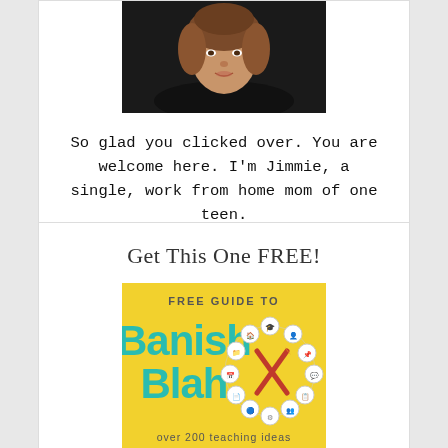[Figure (photo): Head and shoulders photo of a woman with brown hair against a dark background]
So glad you clicked over. You are welcome here. I'm Jimmie, a single, work from home mom of one teen.
Get This One FREE!
[Figure (illustration): Yellow book cover reading: FREE GUIDE TO Banish Blah over 200 teaching ideas from IHomeschool Network, with circular icons and pencil cross design]